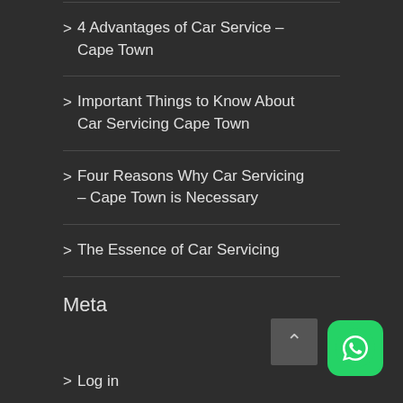> 4 Advantages of Car Service – Cape Town
> Important Things to Know About Car Servicing Cape Town
> Four Reasons Why Car Servicing – Cape Town is Necessary
> The Essence of Car Servicing
Meta
> Log in